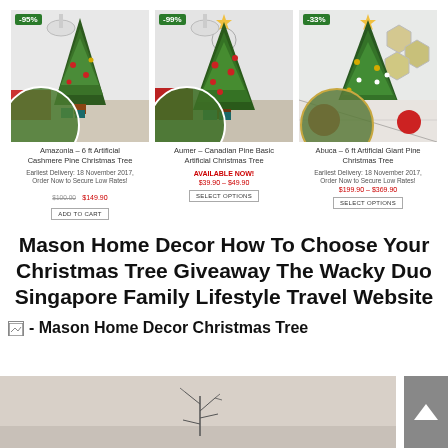[Figure (screenshot): E-commerce product grid showing three artificial Christmas tree products. Left: Amazonia – 6 ft Artificial Cashmere Pine Christmas Tree, -95% badge, Earliest Delivery 18 November 2017, Order Now to Secure Low Rates!, $100.00 $149.90, ADD TO CART button. Center: Aumer – Canadian Pine Basic Artificial Christmas Tree, -99% badge, AVAILABLE NOW!, $39.90 – $49.90, SELECT OPTIONS button. Right: Abuca – 6 ft Artificial Giant Pine Christmas Tree, -33% badge, Earliest Delivery 18 November 2017, Order Now to Secure Low Rates!, $199.90 – $369.90, SELECT OPTIONS button. Each product has a Christmas tree photo with circular leaf/foliage overlay.]
Mason Home Decor How To Choose Your Christmas Tree Giveaway The Wacky Duo Singapore Family Lifestyle Travel Website
- Mason Home Decor Christmas Tree
[Figure (photo): Bottom portion of a room interior photo showing a minimalist space, partially visible, with a small decorative branch/twig element visible against a beige/cream wall.]